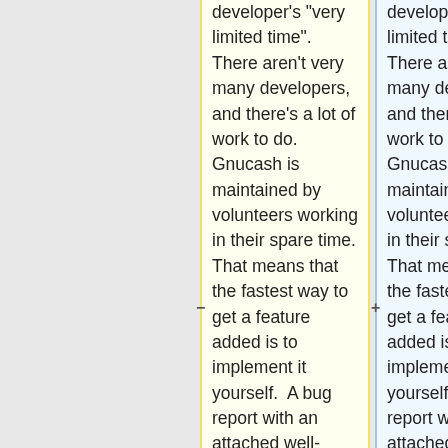developer's "very limited time". There aren't very many developers, and there's a lot of work to do. Gnucash is maintained by volunteers working in their spare time. That means that the fastest way to get a feature added is to implement it yourself.  A bug report with an attached well-written patch is more likely to get applied quickly.
developer's "very limited time". There aren't very many developers, and there's a lot of work to do. Gnucash is maintained by volunteers working in their spare time. That means that the fastest way to get a feature added is to implement it yourself.  A bug report with an attached well-written patch is more likely to get applied quickly.